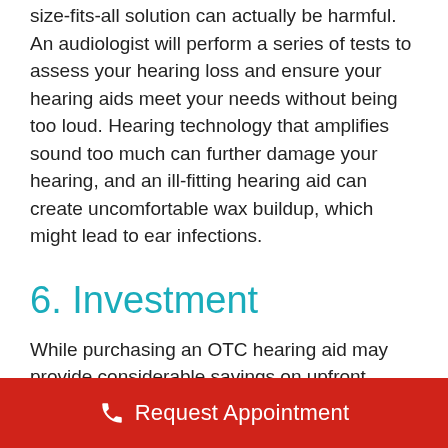size-fits-all solution can actually be harmful. An audiologist will perform a series of tests to assess your hearing loss and ensure your hearing aids meet your needs without being too loud. Hearing technology that amplifies sound too much can further damage your hearing, and an ill-fitting hearing aid can create uncomfortable wax buildup, which might lead to ear infections.
6. Investment
While purchasing an OTC hearing aid may provide considerable savings on upfront costs, seeking treatment through a licensed audiologist
Request Appointment